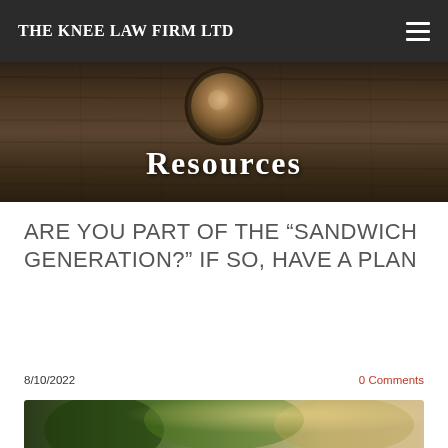THE KNEE LAW FIRM LTD
[Figure (photo): Hero banner with dark wood background and coffee cup, overlaid with text 'Resources']
ARE YOU PART OF THE “SANDWICH GENERATION?” IF SO, HAVE A PLAN
8/10/2022
0 Comments
[Figure (photo): Partial photo of people outdoors with trees in background]